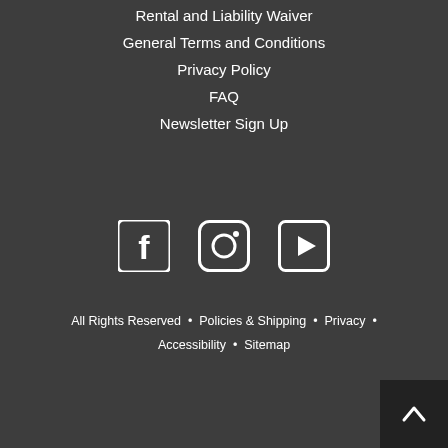Rental and Liability Waiver
General Terms and Conditions
Privacy Policy
FAQ
Newsletter Sign Up
[Figure (illustration): Social media icons: Facebook, Instagram, YouTube]
All Rights Reserved • Policies & Shipping • Privacy • Accessibility • Sitemap